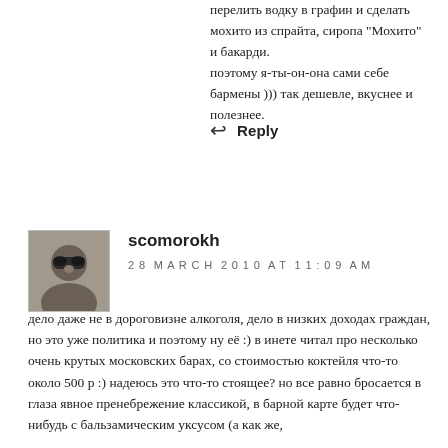перелить водку в графин и сделать мохито из спрайта, сиропа "Мохито" и бакарди. поэтому я-ты-он-она сами себе бармены ))) так дешевле, вкуснее и полезнее.
↩ Reply
[Figure (photo): Avatar photo of user scomorokh showing a person with sunglasses]
scomorokh
28 MARCH 2010 AT 11:09 AM
дело даже не в дороговизне алкоголя, дело в низких доходах граждан, но это уже политика и поэтому ну её :) в инете читал про несколько очень крутых московских барах, со стоимостью коктейля что-то около 500 р :) надеюсь это что-то стоящее? но все равно бросается в глаза явное пренебрежение классикой, в барной карте будет что-нибудь с бальзамическим уксусом (а как же,